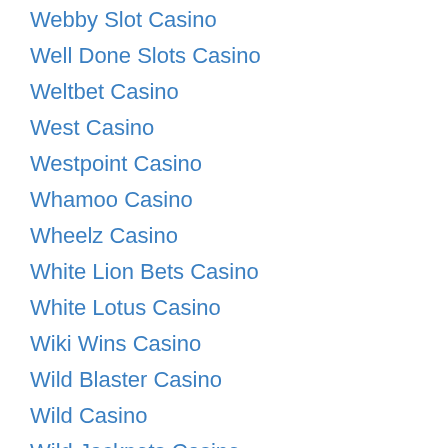Webby Slot Casino
Well Done Slots Casino
Weltbet Casino
West Casino
Westpoint Casino
Whamoo Casino
Wheelz Casino
White Lion Bets Casino
White Lotus Casino
Wiki Wins Casino
Wild Blaster Casino
Wild Casino
Wild Jackpots Casino
Wild Joker Casino
Wild Slots Casino